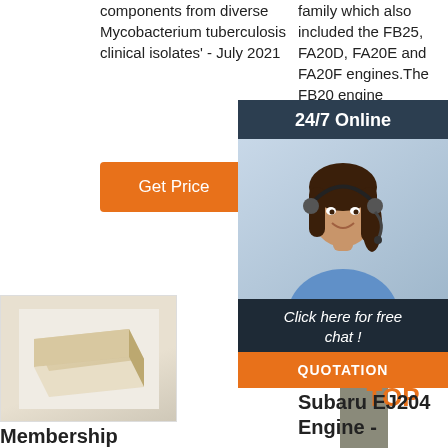components from diverse Mycobacterium tuberculosis clinical isolates' - July 2021
Get Price
family which also included the FB25, FA20D, FA20E and FA20F engines.The FB20 engines in Aust 2012 S GP/GJ
[Figure (infographic): 24/7 Online chat panel overlay with woman wearing headset, dark navy background, 'Click here for free chat!' text, and QUOTATION orange button]
Get
[Figure (photo): Product photo of a pale yellow/beige rectangular block or brick on white background]
Membership
[Figure (photo): Concrete or stone pillar/post]
[Figure (logo): TOP logo with orange triangle dots above bold orange TOP text]
Subaru EJ204 Engine -